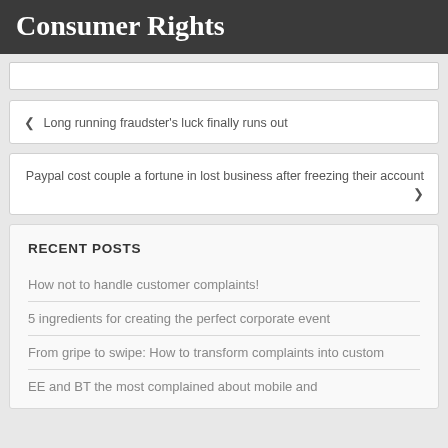Consumer Rights
‹ Long running fraudster's luck finally runs out
Paypal cost couple a fortune in lost business after freezing their account ›
RECENT POSTS
How not to handle customer complaints!
5 ingredients for creating the perfect corporate event
From gripe to swipe: How to transform complaints into custom
EE and BT the most complained about mobile and